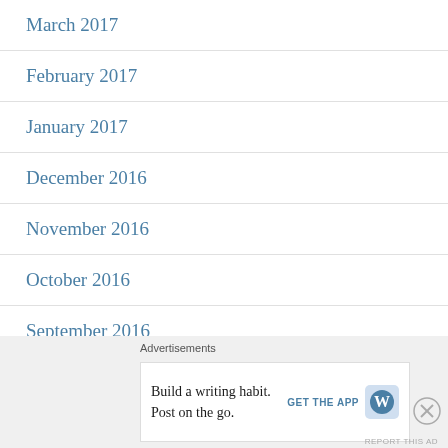March 2017
February 2017
January 2017
December 2016
November 2016
October 2016
September 2016
August 2016
[Figure (other): Advertisement banner: WordPress app promotion. Text: Build a writing habit. Post on the go. GET THE APP with WordPress logo. Close button (X) visible.]